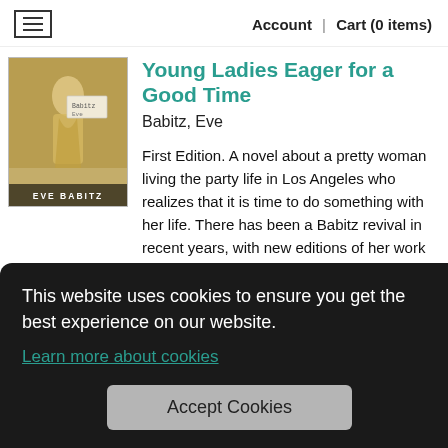Account | Cart (0 items)
[Figure (photo): Book cover for 'Young Ladies Eager for a Good Time' by Eve Babitz, showing a gold/tan illustrated cover with a figure and the author name at the bottom.]
Young Ladies Eager for a Good Time
Babitz, Eve
First Edition. A novel about a pretty woman living the party life in Los Angeles who realizes that it is time to do something with her life. There has been a Babitz revival in recent years, with new editions of her work appearing—the reissue of this novel was on NPR's
861565
This website uses cookies to ensure you get the best experience on our website.
Learn more about cookies
Accept Cookies